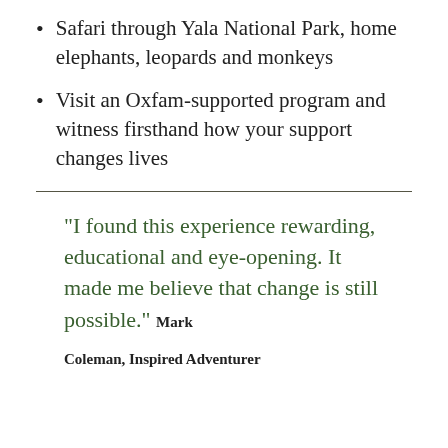Safari through Yala National Park, home elephants, leopards and monkeys
Visit an Oxfam-supported program and witness firsthand how your support changes lives
“I found this experience rewarding, educational and eye-opening. It made me believe that change is still possible.” Mark Coleman, Inspired Adventurer